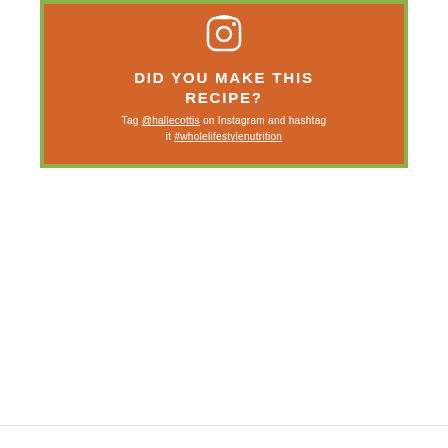[Figure (infographic): Orange box with green border containing Instagram camera icon, heading 'DID YOU MAKE THIS RECIPE?', and social media tag instructions.]
Tag @hallecottis on Instagram and hashtag it #wholelifestylenutrition